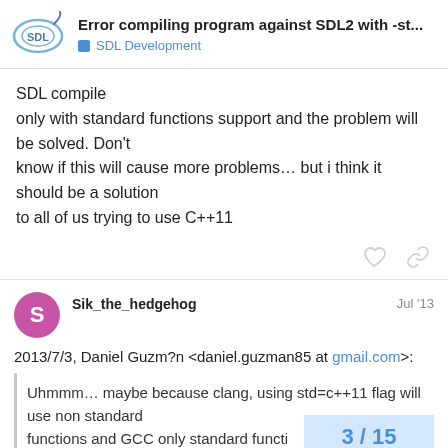Error compiling program against SDL2 with -st... | SDL Development
SDL compile
only with standard functions support and the problem will be solved. Don't
know if this will cause more problems... but i think it should be a solution
to all of us trying to use C++11
Sik_the_hedgehog   Jul '13
2013/7/3, Daniel Guzm?n <daniel.guzman85 at gmail.com>:
Uhmmm... maybe because clang, using std=c++11 flag will use non standard
functions and GCC only standard functi
3 / 15